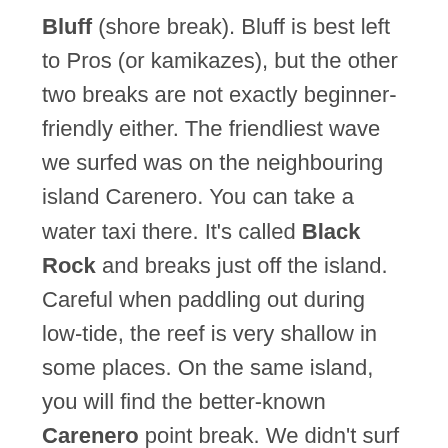Bluff (shore break). Bluff is best left to Pros (or kamikazes), but the other two breaks are not exactly beginner-friendly either. The friendliest wave we surfed was on the neighbouring island Carenero. You can take a water taxi there. It's called Black Rock and breaks just off the island. Careful when paddling out during low-tide, the reef is very shallow in some places. On the same island, you will find the better-known Carenero point break. We didn't surf this left-hander. But it's also a spot for the more experienced surfer and breaks over a shallow reef. Last but not least, you can head to the island of Bastimentos, which is a bit further away. We took a water taxi to the town and walked to the other side. If you don't mind paying more, you can take a taxi all the way to Wizard Beach or Red Frog beach. If you walk, don't take any valuables and head